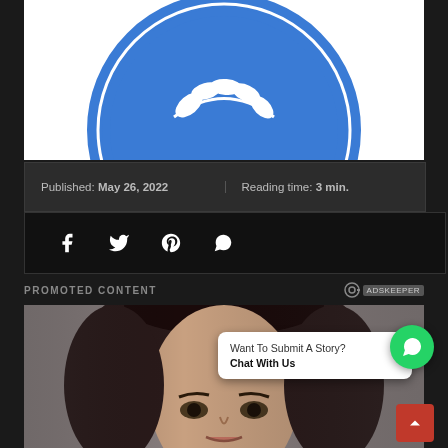[Figure (logo): IMF International Monetary Fund circular logo in blue and white, showing partial view with text MONETARY FUND and olive branch emblem]
Published: May 26, 2022
Reading time: 3 min.
[Figure (infographic): Social media share icons: Facebook, Twitter, Pinterest, WhatsApp]
PROMOTED CONTENT
[Figure (photo): Woman with dark hair, close-up portrait photo for promoted content advertisement]
Want To Submit A Story? Chat With Us